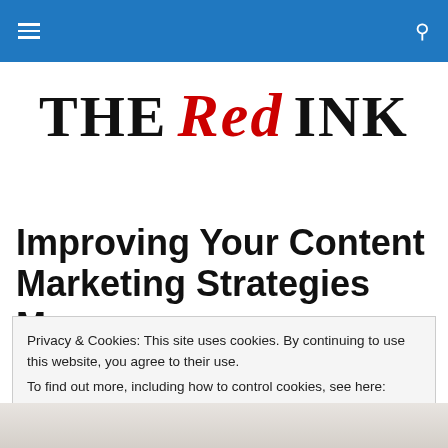THE Red INK — navigation bar with hamburger menu and search icon
[Figure (logo): THE Red INK logo — THE and INK in large serif black capitals, Red in red italic script font]
Improving Your Content Marketing Strategies Means
Privacy & Cookies: This site uses cookies. By continuing to use this website, you agree to their use.
To find out more, including how to control cookies, see here: Cookie Policy
Close and accept